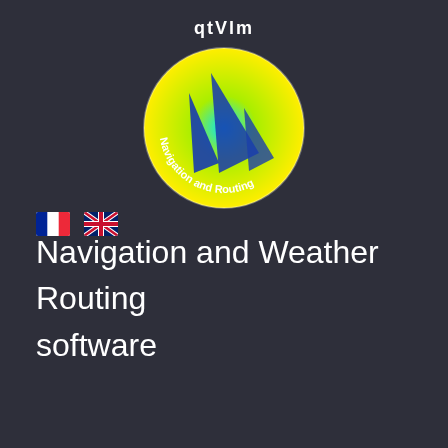[Figure (logo): qtVlm circular logo with blue sail shapes on a yellow-green gradient background, text 'Navigation and Routing' around the bottom edge. The word 'qtVlm' appears above the circle in white.]
[Figure (illustration): French flag emoji and UK flag emoji side by side, serving as language selection icons]
Navigation and Weather Routing software